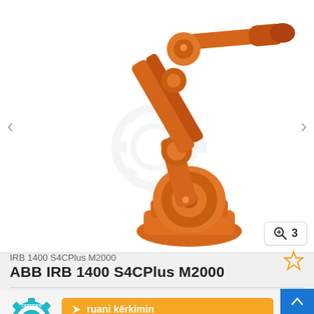[Figure (photo): Orange ABB IRB 1400 S4CPlus M2000 industrial robotic arm on white background with navigation arrows and zoom badge showing '3']
IRB 1400 S4CPlus M2000
ABB  IRB 1400 S4CPlus M2000
[Figure (logo): Certified Dealer badge with gear/cog border, teal/cyan color, checkmark in center]
ruani kërkimin
€ Informacione mbi cmimin